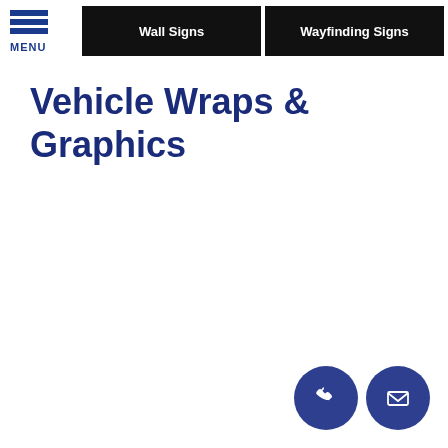MENU | Wall Signs | Wayfinding Signs
Vehicle Wraps & Graphics
[Figure (illustration): Two circular icon buttons at bottom right: a phone icon and an envelope/mail icon, both on dark blue circular backgrounds]